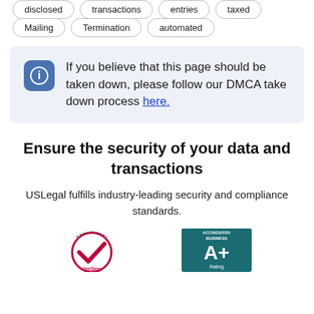disclosed
transactions
entries
taxed
Mailing
Termination
automated
If you believe that this page should be taken down, please follow our DMCA take down process here.
Ensure the security of your data and transactions
USLegal fulfills industry-leading security and compliance standards.
[Figure (logo): VeriSign Secured logo - circular checkmark badge with crimson/white colors]
[Figure (logo): BBB Accredited Business A+ Rating badge - teal/white colors]